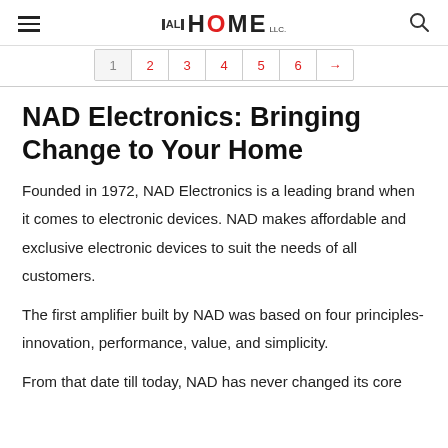≡  ALL HOME  🔍
1 2 3 4 5 6 →
NAD Electronics: Bringing Change to Your Home
Founded in 1972, NAD Electronics is a leading brand when it comes to electronic devices. NAD makes affordable and exclusive electronic devices to suit the needs of all customers.
The first amplifier built by NAD was based on four principles- innovation, performance, value, and simplicity.
From that date till today, NAD has never changed its core